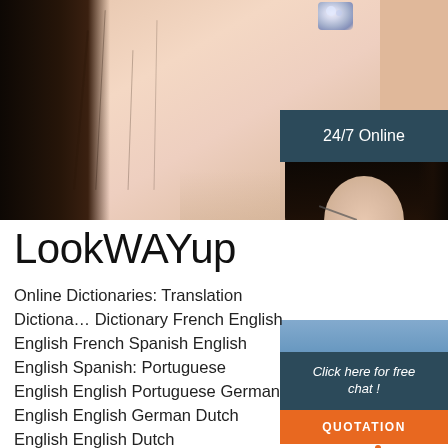[Figure (photo): Close-up photo of a woman's neck/collarbone area with dark hair visible on left and sparkly earring visible at top right. Skin tone is warm peach/beige.]
[Figure (infographic): Advertisement overlay panel on right side showing '24/7 Online' header in dark blue, photo of female agent with headset smiling, 'Click here for free chat!' text, and orange QUOTATION button. A TOP badge with house icon appears at bottom right.]
LookWAYup
Online Dictionaries: Translation Dictionary Dictionary French English English French Spanish English English Spanish: Portuguese English English Portuguese German English English German Dutch English English Dutch